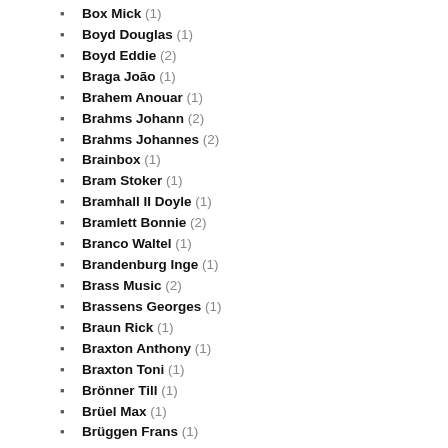Box Mick (1)
Boyd Douglas (1)
Boyd Eddie (2)
Braga João (1)
Brahem Anouar (1)
Brahms Johann (2)
Brahms Johannes (2)
Brainbox (1)
Bram Stoker (1)
Bramhall II Doyle (1)
Bramlett Bonnie (2)
Branco Waltel (1)
Brandenburg Inge (1)
Brass Music (2)
Brassens Georges (1)
Braun Rick (1)
Braxton Anthony (1)
Braxton Toni (1)
Brönner Till (1)
Brüel Max (1)
Brüggen Frans (1)